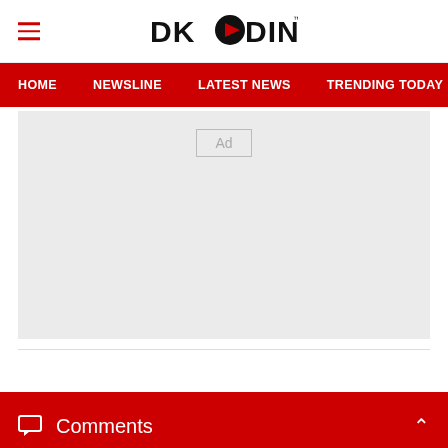DKODING
HOME  NEWSLINE  LATEST NEWS  TRENDING TODAY  ENT
[Figure (other): Advertisement placeholder box with 'Ad' label on grey background]
Comments
ADVERTISEMENT